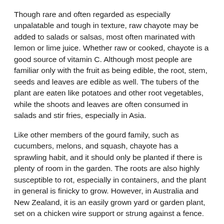Though rare and often regarded as especially unpalatable and tough in texture, raw chayote may be added to salads or salsas, most often marinated with lemon or lime juice. Whether raw or cooked, chayote is a good source of vitamin C. Although most people are familiar only with the fruit as being edible, the root, stem, seeds and leaves are edible as well. The tubers of the plant are eaten like potatoes and other root vegetables, while the shoots and leaves are often consumed in salads and stir fries, especially in Asia.
Like other members of the gourd family, such as cucumbers, melons, and squash, chayote has a sprawling habit, and it should only be planted if there is plenty of room in the garden. The roots are also highly susceptible to rot, especially in containers, and the plant in general is finicky to grow. However, in Australia and New Zealand, it is an easily grown yard or garden plant, set on a chicken wire support or strung against a fence.
[Figure (photo): Photo of green chayote vegetables piled together on a black background]